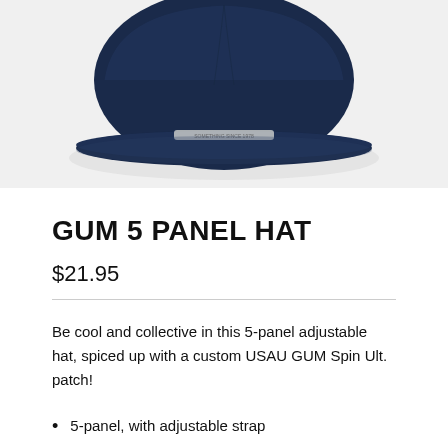[Figure (photo): Partial view of a navy blue 5-panel hat, showing the brim and lower portion of the hat against a light gray background.]
GUM 5 PANEL HAT
$21.95
Be cool and collective in this 5-panel adjustable hat, spiced up with a custom USAU GUM Spin Ult. patch!
5-panel, with adjustable strap